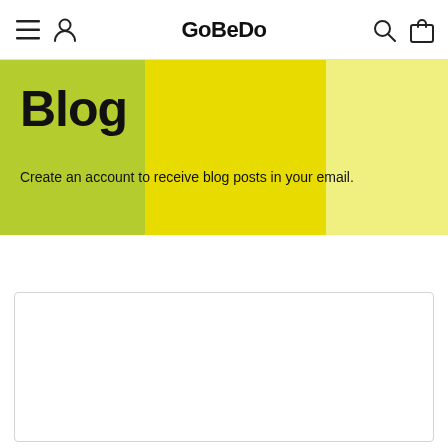GoBeDo
Blog
Create an account to receive blog posts in your email.
[Figure (other): Empty white card/content area placeholder]